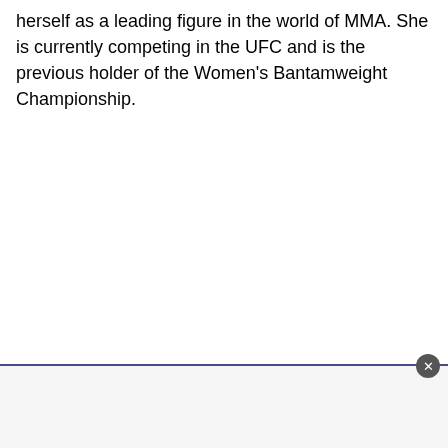herself as a leading figure in the world of MMA. She is currently competing in the UFC and is the previous holder of the Women's Bantamweight Championship.